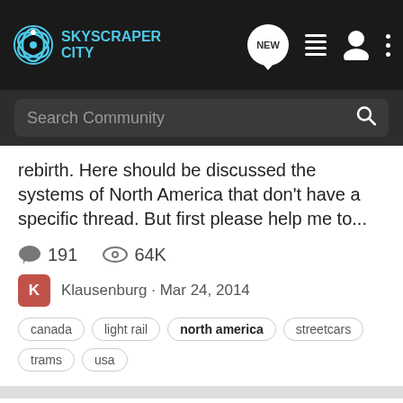SkyscraperCity [navigation bar with NEW, menu, user, and more icons]
Search Community
rebirth. Here should be discussed the systems of North America that don't have a specific thread. But first please help me to...
191   64K
Klausenburg · Mar 24, 2014
canada
light rail
north america
streetcars
trams
usa
GTC United States
Guess the City
O K, this is my turn to create a dedicated GTC Thread for the United States of America :) N O T E: This is a post and guess thread. Here are the Rules; You get to earn: 1 points for guessing the right U.S. State ( There are currently 50